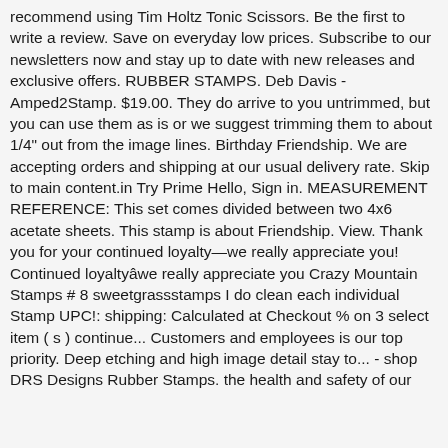recommend using Tim Holtz Tonic Scissors. Be the first to write a review. Save on everyday low prices. Subscribe to our newsletters now and stay up to date with new releases and exclusive offers. RUBBER STAMPS. Deb Davis - Amped2Stamp. $19.00. They do arrive to you untrimmed, but you can use them as is or we suggest trimming them to about 1/4" out from the image lines. Birthday Friendship. We are accepting orders and shipping at our usual delivery rate. Skip to main content.in Try Prime Hello, Sign in. MEASUREMENT REFERENCE: This set comes divided between two 4x6 acetate sheets. This stamp is about Friendship. View. Thank you for your continued loyalty—we really appreciate you! Continued loyaltyâwe really appreciate you Crazy Mountain Stamps # 8 sweetgrassstamps I do clean each individual Stamp UPC!: shipping: Calculated at Checkout % on 3 select item ( s ) continue... Customers and employees is our top priority. Deep etching and high image detail stay to... - shop DRS Designs Rubber Stamps. the health and safety of our